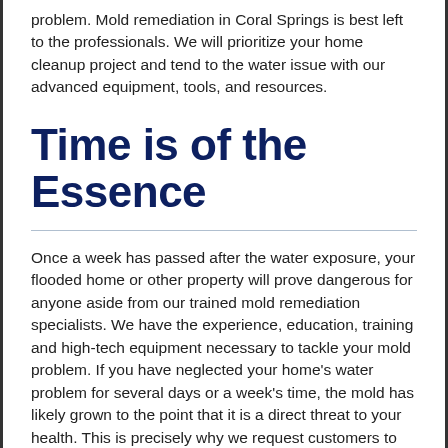problem. Mold remediation in Coral Springs is best left to the professionals. We will prioritize your home cleanup project and tend to the water issue with our advanced equipment, tools, and resources.
Time is of the Essence
Once a week has passed after the water exposure, your flooded home or other property will prove dangerous for anyone aside from our trained mold remediation specialists. We have the experience, education, training and high-tech equipment necessary to tackle your mold problem. If you have neglected your home's water problem for several days or a week's time, the mold has likely grown to the point that it is a direct threat to your health. This is precisely why we request customers to contact us as soon as they are aware of water exposure.